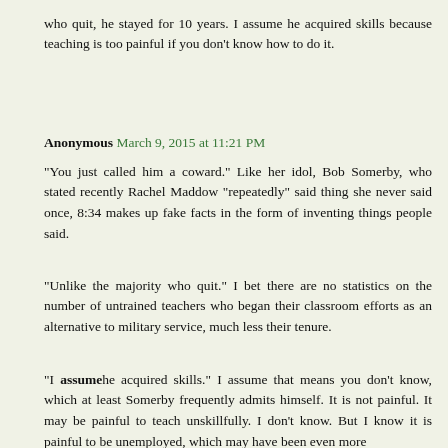who quit, he stayed for 10 years. I assume he acquired skills because teaching is too painful if you don't know how to do it.
Anonymous March 9, 2015 at 11:21 PM
"You just called him a coward." Like her idol, Bob Somerby, who stated recently Rachel Maddow "repeatedly" said thing she never said once, 8:34 makes up fake facts in the form of inventing things people said.
"Unlike the majority who quit." I bet there are no statistics on the number of untrained teachers who began their classroom efforts as an alternative to military service, much less their tenure.
"I assume he acquired skills." I assume that means you don't know, which at least Somerby frequently admits himself. It is not painful. It may be painful to teach unskillfully. I don't know. But I know it is painful to be unemployed, which may have been even more